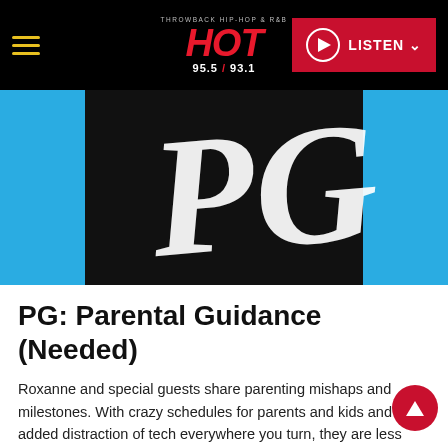HOT 95.5 / 93.1 — LISTEN
[Figure (illustration): Radio station podcast artwork: black background with large white stylized lettering 'PG' in graffiti/script style, flanked by cyan/teal blue panels on the left and right sides.]
PG: Parental Guidance (Needed)
Roxanne and special guests share parenting mishaps and milestones. With crazy schedules for parents and kids and the added distraction of tech everywhere you turn, they are less dishing out parental guidance and more seeking answers on how to parent in today's world.
Play Latest (August 17th)
149 EPISODES